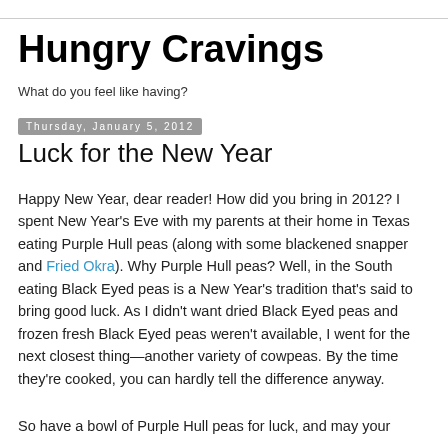Hungry Cravings
What do you feel like having?
Thursday, January 5, 2012
Luck for the New Year
Happy New Year, dear reader! How did you bring in 2012? I spent New Year's Eve with my parents at their home in Texas eating Purple Hull peas (along with some blackened snapper and Fried Okra). Why Purple Hull peas? Well, in the South eating Black Eyed peas is a New Year's tradition that's said to bring good luck. As I didn't want dried Black Eyed peas and frozen fresh Black Eyed peas weren't available, I went for the next closest thing—another variety of cowpeas. By the time they're cooked, you can hardly tell the difference anyway.
So have a bowl of Purple Hull peas for luck, and may your